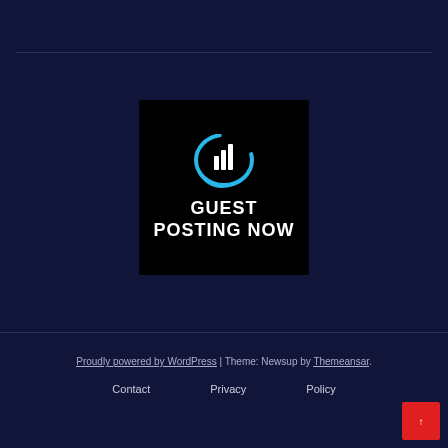[Figure (logo): Guest Posting Now logo: black square background with a blue circular arrow icon containing a white bar chart, with white bold text 'GUEST POSTING NOW' below the icon.]
Proudly powered by WordPress | Theme: Newsup by Themeansar.
Contact
Privacy
Policy